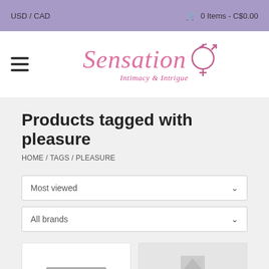USD / CAD   🛒 0 Items - C$0.00
[Figure (logo): Sensation Intimacy & Intrigue logo with gender symbols in pink cursive text]
Products tagged with pleasure
HOME / TAGS / PLEASURE
Most viewed
All brands